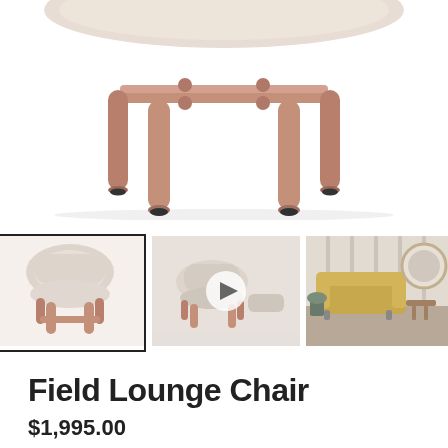[Figure (photo): Close-up of Field Lounge Chair bottom portion showing wooden legs in rose/blush pink tone and beige upholstered seat, white background]
[Figure (photo): Thumbnail 1 (selected): Full view of Field Lounge Chair with beige fabric and rose wood legs, white background. Has black border indicating selection.]
[Figure (photo): Thumbnail 2: Field Lounge Chair with ottoman, rose/blush wood legs, with a video play button overlay]
[Figure (photo): Thumbnail 3: Room scene showing yellow/mustard sofa with round mirror and plants]
Field Lounge Chair
$1,995.00